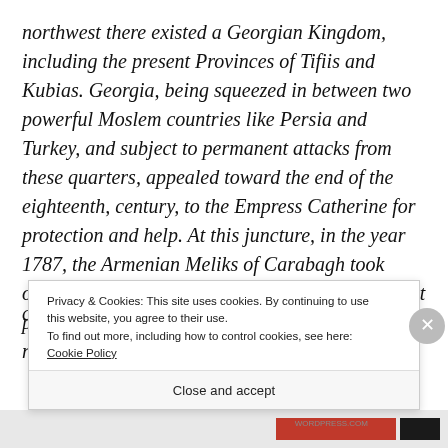northwest there existed a Georgian Kingdom, including the present Provinces of Tifiis and Kubias. Georgia, being squeezed in between two powerful Moslem countries like Persia and Turkey, and subject to permanent attacks from these quarters, appealed toward the end of the eighteenth, century, to the Empress Catherine for protection and help. At this juncture, in the year 1787, the Armenian Meliks of Carabagh took occasion to send a delegation to the Russian court praying for Russian assistance against Tartar neighbours, who were in c...
Privacy & Cookies: This site uses cookies. By continuing to use this website, you agree to their use.
To find out more, including how to control cookies, see here: Cookie Policy
Close and accept